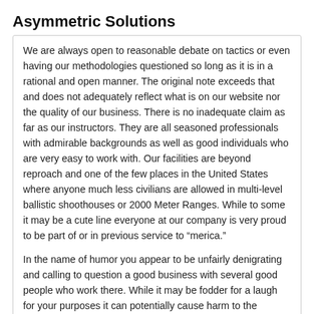Asymmetric Solutions
We are always open to reasonable debate on tactics or even having our methodologies questioned so long as it is in a rational and open manner. The original note exceeds that and does not adequately reflect what is on our website nor the quality of our business. There is no inadequate claim as far as our instructors. They are all seasoned professionals with admirable backgrounds as well as good individuals who are very easy to work with. Our facilities are beyond reproach and one of the few places in the United States where anyone much less civilians are allowed in multi-level ballistic shoothouses or 2000 Meter Ranges. While to some it may be a cute line everyone at our company is very proud to be part of or in previous service to “merica.”
In the name of humor you appear to be unfairly denigrating and calling to question a good business with several good people who work there. While it may be fodder for a laugh for your purposes it can potentially cause harm to the livelihoods of people you may not realize you can inadvertently damage with your platform.